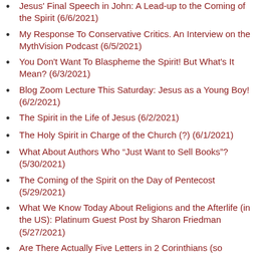Jesus' Final Speech in John: A Lead-up to the Coming of the Spirit (6/6/2021)
My Response To Conservative Critics. An Interview on the MythVision Podcast (6/5/2021)
You Don't Want To Blaspheme the Spirit! But What's It Mean? (6/3/2021)
Blog Zoom Lecture This Saturday: Jesus as a Young Boy! (6/2/2021)
The Spirit in the Life of Jesus (6/2/2021)
The Holy Spirit in Charge of the Church (?) (6/1/2021)
What About Authors Who “Just Want to Sell Books”? (5/30/2021)
The Coming of the Spirit on the Day of Pentecost (5/29/2021)
What We Know Today About Religions and the Afterlife (in the US): Platinum Guest Post by Sharon Friedman (5/27/2021)
Are There Actually Five Letters in 2 Corinthians (so